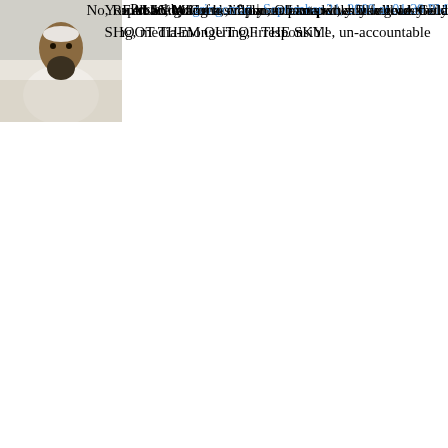"A Republic, Madame, if you can keep it; a Democracy if y... licking, media-mongering, irresponsible, un-accountable...
"You read the Greeks. You understand what follows the d...
"Good luck, Madame. I suspect you will need it."
Posted by: gringoman | September 21, 2009 at 01:39 PM
[Figure (photo): Avatar photo of a person wearing white clothing with a beard]
You all are going to crap your pants when you read the la... SHOOT THEM OUT OF THE SKY!
No, REALLY. All of a sudden, Obama looks like gold. Gold...
http://blogs.abcnews.com/politicalpunch/2009/09/zbig-br...
POSTED BY: XBJLLB | SEPTEMBER 20, 2009 AT 09:44 PM
--
WOW, we have a truly deranged Carterite here. This abd-...
Truly INSANE.
Just like Brzezinski is a rabid anti-Israel anti-Semite. Funny...